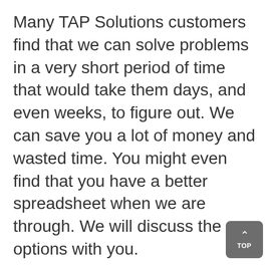Many TAP Solutions customers find that we can solve problems in a very short period of time that would take them days, and even weeks, to figure out. We can save you a lot of money and wasted time. You might even find that you have a better spreadsheet when we are through. We will discuss the options with you.
TAP Solutions Offers Excel Classes and In Office Training Services